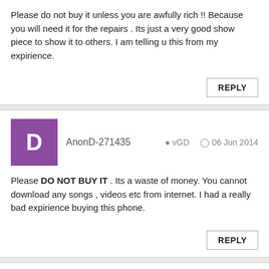Please do not buy it unless you are awfully rich !! Because you will need it for the repairs . Its just a very good show piece to show it to others. I am telling u this from my expirience.
AnonD-271435   vGD   06 Jun 2014
Please DO NOT BUY IT . Its a waste of money. You cannot download any songs , videos etc from internet. I had a really bad expirience buying this phone.
Suk   vGD   06 Jun 2014